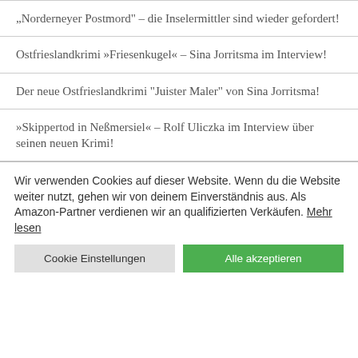„Norderneyer Postmord“ – die Inselermittler sind wieder gefordert!
Ostfrieslandkrimi »Friesenkugel« – Sina Jorritsma im Interview!
Der neue Ostfrieslandkrimi „Juister Maler“ von Sina Jorritsma!
»Skippertod in Neßmersiel« – Rolf Uliczka im Interview über seinen neuen Krimi!
Wir verwenden Cookies auf dieser Website. Wenn du die Website weiter nutzt, gehen wir von deinem Einverständnis aus. Als Amazon-Partner verdienen wir an qualifizierten Verkäufen. Mehr lesen